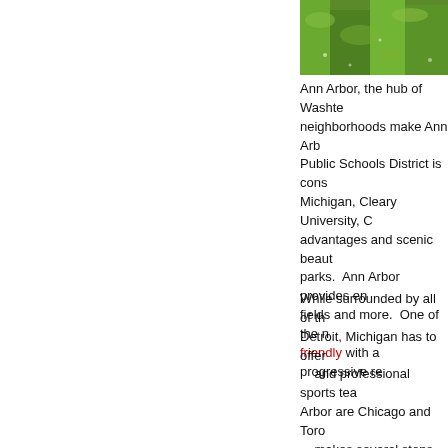[Figure (photo): Aerial or close-up photo of green grass/lawn area]
Ann Arbor, the hub of Washte... neighborhoods make Ann Arb... Public Schools District is cons... Michigan, Cleary University, C... advantages and scenic beaut... parks.  Ann Arbor provides en... fields and more.  One of the n... friendly with a progressive re...
While surrounded by all of th... Detroit, Michigan has to offer... and professional sports tea... Arbor are Chicago and Toro... makes several stops daily... broad range of major emplo... University of Michigan Heal... These opportunities allow m... hour to greater Detroit... conveniently located to a la...